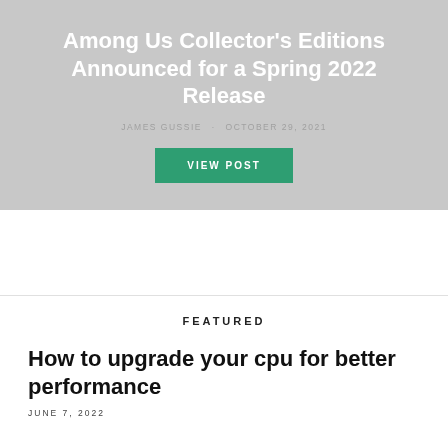Among Us Collector's Editions Announced for a Spring 2022 Release
JAMES GUSSIE · OCTOBER 29, 2021
VIEW POST
FEATURED
How to upgrade your cpu for better performance
JUNE 7, 2022